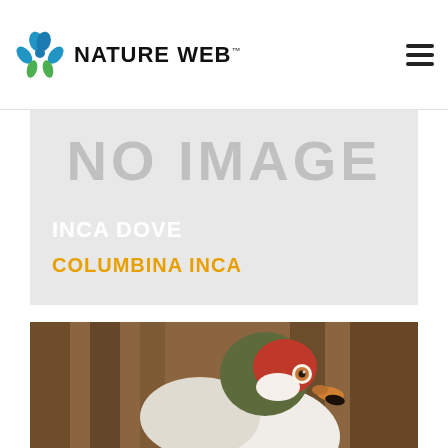NATURE WEB
[Figure (other): NO IMAGE placeholder banner with bird name 'INCA DOVE' and scientific name 'COLUMBINA INCA' on grey background]
[Figure (photo): Close-up photograph of a bird with green and red head, white chest, amber eye, and orange beak, against blurred brown bokeh background]